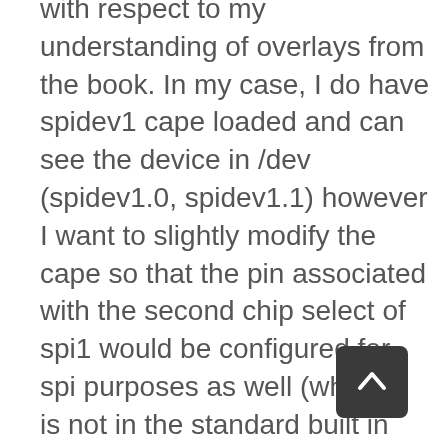with respect to my understanding of overlays from the book. In my case, I do have spidev1 cape loaded and can see the device in /dev (spidev1.0, spidev1.1) however I want to slightly modify the cape so that the pin associated with the second chip select of spi1 would be configured for spi purposes as well (which it is not in the standard built in spidev1 overlay.) However, I can't find separate dts source files for the peripherals as was my understanding of overlays. I realize I could without too much difficulty write a new dts file for the spidev1 with my configuration preferences but I'd very much like to see the dts file that separate dtbo files in /lib/firmware are compiled from for my understanding. Where can
[Figure (other): Dark rounded square scroll-to-top button with upward chevron arrow]